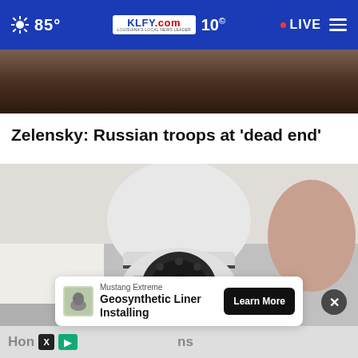85° KLFY.com 10 LIVE
[Figure (photo): Partial view of a person in dark clothing, top portion cropped]
Zelensky: Russian troops at 'dead end'
[Figure (photo): Close-up of a white security camera being held in someone's hand]
Mustang Extreme
Geosynthetic Liner Installing
Learn More
Hon  ns